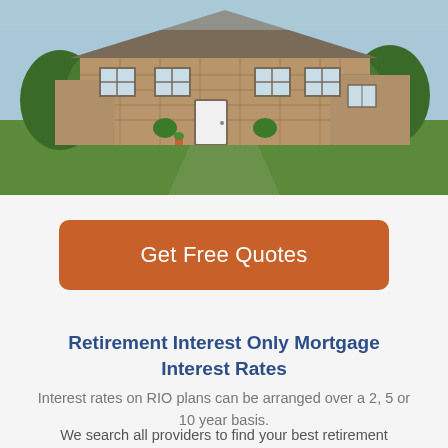[Figure (photo): Photograph of a traditional English stone cottage with a large green lawn, white-framed windows, and a white door, surrounded by trees.]
Get Free Quotes
Retirement Interest Only Mortgage Interest Rates
Interest rates on RIO plans can be arranged over a 2, 5 or 10 year basis.
We search all providers to find your best retirement interest only lifetime mortgage plan and assist with